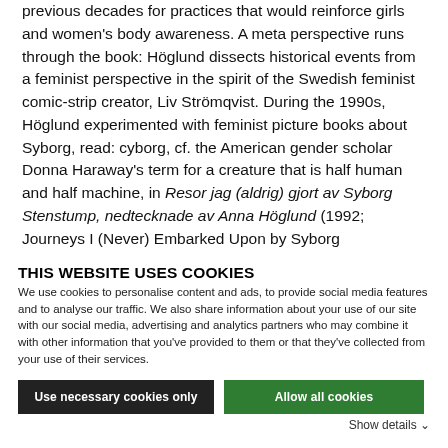previous decades for practices that would reinforce girls and women's body awareness. A meta perspective runs through the book: Höglund dissects historical events from a feminist perspective in the spirit of the Swedish feminist comic-strip creator, Liv Strömqvist. During the 1990s, Höglund experimented with feminist picture books about Syborg, read: cyborg, cf. the American gender scholar Donna Haraway's term for a creature that is half human and half machine, in Resor jag (aldrig) gjort av Syborg Stenstump, nedtecknade av Anna Höglund (1992; Journeys I (Never) Embarked Upon by Syborg
THIS WEBSITE USES COOKIES
We use cookies to personalise content and ads, to provide social media features and to analyse our traffic. We also share information about your use of our site with our social media, advertising and analytics partners who may combine it with other information that you've provided to them or that they've collected from your use of their services.
Use necessary cookies only
Allow all cookies
Show details